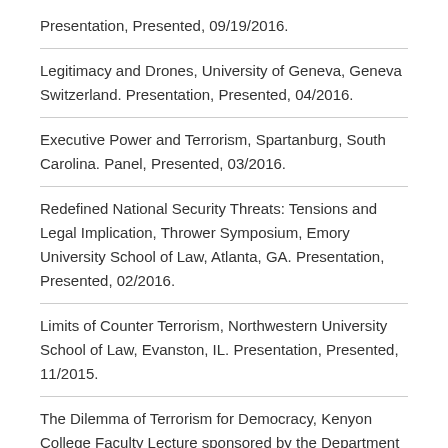Presentation, Presented, 09/19/2016.
Legitimacy and Drones, University of Geneva, Geneva Switzerland. Presentation, Presented, 04/2016.
Executive Power and Terrorism, Spartanburg, South Carolina. Panel, Presented, 03/2016.
Redefined National Security Threats: Tensions and Legal Implication, Thrower Symposium, Emory University School of Law, Atlanta, GA. Presentation, Presented, 02/2016.
Limits of Counter Terrorism, Northwestern University School of Law, Evanston, IL. Presentation, Presented, 11/2015.
The Dilemma of Terrorism for Democracy, Kenyon College Faculty Lecture sponsored by the Department of Political